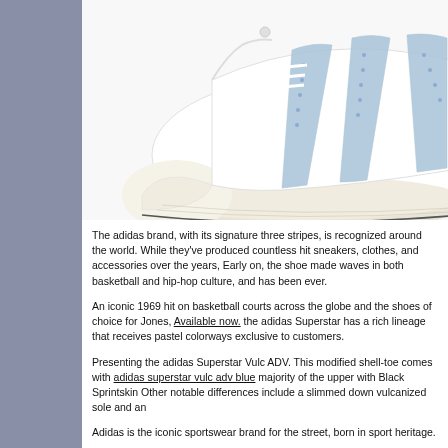[Figure (photo): Close-up photo of an Adidas Superstar sneaker, white leather with light blue three stripes, shell toe visible, on white background]
The adidas brand, with its signature three stripes, is recognized around the world. While they've produced countless hit sneakers, clothes, and accessories over the years, Early on, the shoe made waves in both basketball and hip-hop culture, and has been ever.
An iconic 1969 hit on basketball courts across the globe and the shoes of choice for Jones, Available now. the adidas Superstar has a rich lineage that receives pastel colorways exclusive to customers.
Presenting the adidas Superstar Vulc ADV. This modified shell-toe comes with adidas superstar vulc adv blue majority of the upper with Black Sprintskin Other notable differences include a slimmed down vulcanized sole and an
Adidas is the iconic sportswear brand for the street, born in sport heritage.